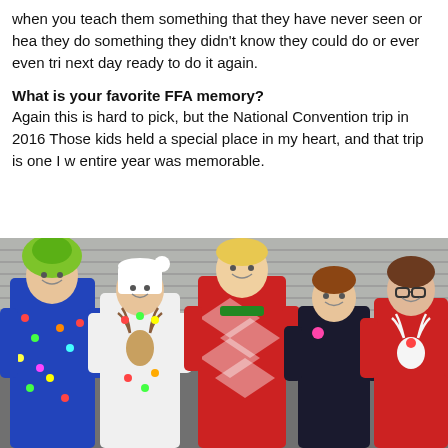when you teach them something that they have never seen or heard before, when they do something they didn't know they could do or ever even tried. They come back next day ready to do it again.
What is your favorite FFA memory?
Again this is hard to pick, but the National Convention trip in 2016 was special. Those kids held a special place in my heart, and that trip is one I will never forget. The entire year was memorable.
[Figure (photo): Five young people standing together outdoors in front of a metal garage door, all wearing festive Christmas-themed ugly sweaters and outfits. From left: a male in a blue Christmas lights jacket with a green Grinch hood; a female in a white Santa hat and white sweater with reindeer decorations; a tall male in a red and green Christmas pattern sweater; a shorter female in dark top; a female with glasses in a red Christmas sweater with a reindeer design.]